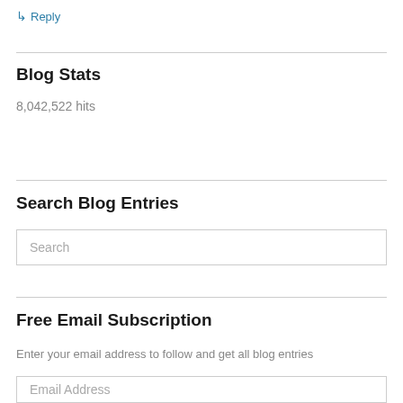↳ Reply
Blog Stats
8,042,522 hits
Search Blog Entries
Search
Free Email Subscription
Enter your email address to follow and get all blog entries
Email Address